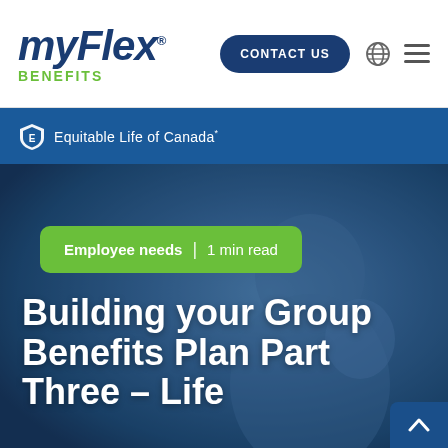[Figure (logo): myFlex Benefits logo — 'myFlex' in bold italic dark blue with registered trademark, 'BENEFITS' in green capitals below]
CONTACT US
[Figure (logo): Globe icon and hamburger menu icon]
[Figure (logo): Equitable Life of Canada logo with shield icon and text on blue banner]
[Figure (photo): Background photo of a woman holding a baby, overlaid with blue tint]
Employee needs  |  1 min read
Building your Group Benefits Plan Part Three – Life